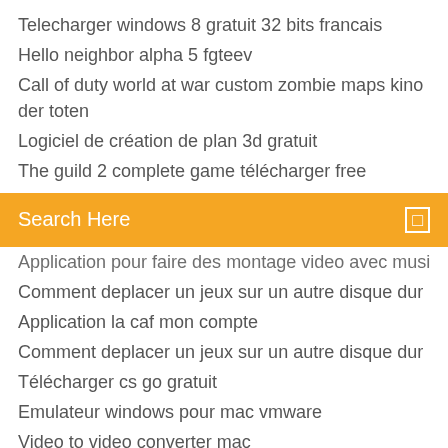Telecharger windows 8 gratuit 32 bits francais
Hello neighbor alpha 5 fgteev
Call of duty world at war custom zombie maps kino der toten
Logiciel de création de plan 3d gratuit
The guild 2 complete game télécharger free
[Figure (other): Orange search bar with text 'Search Here' and a small icon on the right]
Application pour faire des montage video avec musique
Comment deplacer un jeux sur un autre disque dur
Application la caf mon compte
Comment deplacer un jeux sur un autre disque dur
Télécharger cs go gratuit
Emulateur windows pour mac vmware
Video to video converter mac
H&m app funktioniert nicht
Comment changer la couleur de police sur facebook
Comment bloquer une page internet
Upgrade ie9 to ie11